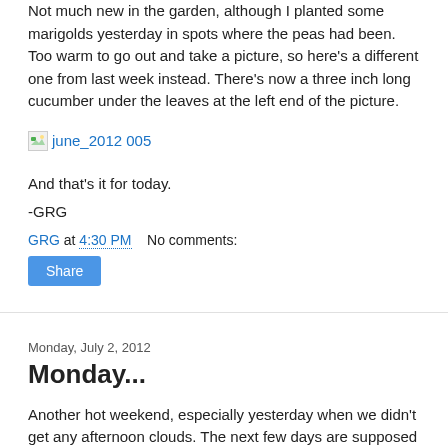Not much new in the garden, although I planted some marigolds yesterday in spots where the peas had been. Too warm to go out and take a picture, so here's a different one from last week instead. There's now a three inch long cucumber under the leaves at the left end of the picture.
[Figure (photo): Broken image link labeled 'june_2012 005']
And that's it for today.
-GRG
GRG at 4:30 PM    No comments:
Share
Monday, July 2, 2012
Monday...
Another hot weekend, especially yesterday when we didn't get any afternoon clouds. The next few days are supposed to be a bit better - we'll see. What we need most is our usual